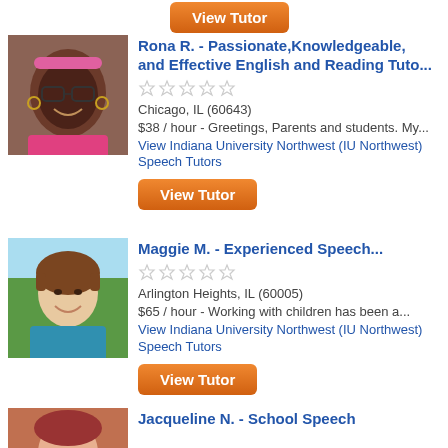[Figure (photo): Orange View Tutor button at top of page]
[Figure (photo): Photo of Rona R., a woman smiling wearing glasses and a pink headband]
Rona R. - Passionate,Knowledgeable, and Effective English and Reading Tuto...
Chicago, IL (60643)
$38 / hour - Greetings, Parents and students. My...
View Indiana University Northwest (IU Northwest) Speech Tutors
[Figure (other): Orange View Tutor button]
[Figure (photo): Photo of Maggie M., a woman with short brown hair smiling outdoors]
Maggie M. - Experienced Speech...
Arlington Heights, IL (60005)
$65 / hour - Working with children has been a...
View Indiana University Northwest (IU Northwest) Speech Tutors
[Figure (other): Orange View Tutor button]
[Figure (photo): Partial photo of Jacqueline N. at bottom of page]
Jacqueline N. - School Speech